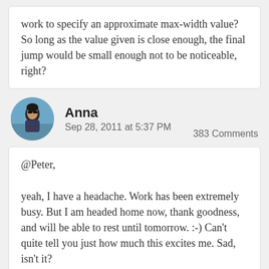work to specify an approximate max-width value? So long as the value given is close enough, the final jump would be small enough not to be noticeable, right?
Anna
Sep 28, 2011 at 5:37 PM    383 Comments
@Peter,

yeah, I have a headache. Work has been extremely busy. But I am headed home now, thank goodness, and will be able to rest until tomorrow. :-) Can't quite tell you just how much this excites me. Sad, isn't it?